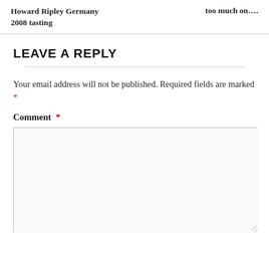Howard Ripley Germany 2008 tasting
too much on....
LEAVE A REPLY
Your email address will not be published. Required fields are marked *
Comment *